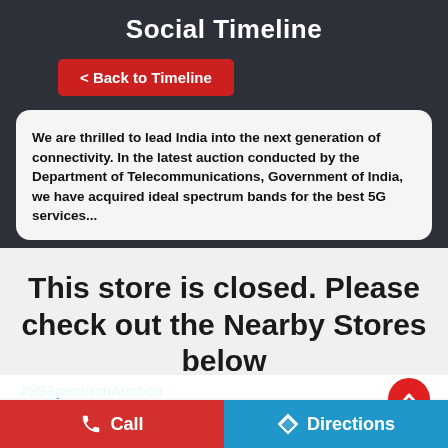Social Timeline
< Back to Timeline
We are thrilled to lead India into the next generation of connectivity. In the latest auction conducted by the Department of Telecommunications, Government of India, we have acquired ideal spectrum bands for the best 5G services...
This store is closed. Please check out the Nearby Stores below
#5GSpectrumAuction
#Airtel
Posted On: 01 Aug 2022 11:08 PM
Call
Directions